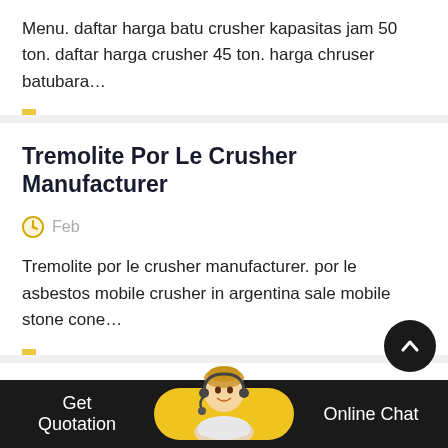Menu. daftar harga batu crusher kapasitas jam 50 ton. daftar harga crusher 45 ton. harga chruser batubara…
Tremolite Por Le Crusher Manufacturer
Feb
Tremolite por le crusher manufacturer. por le asbestos mobile crusher in argentina sale mobile stone cone…
Gyratory Crusher Crushing 1250 Tons Per Hour A Year In Spanish
Dec
Get Quotation   Online Chat